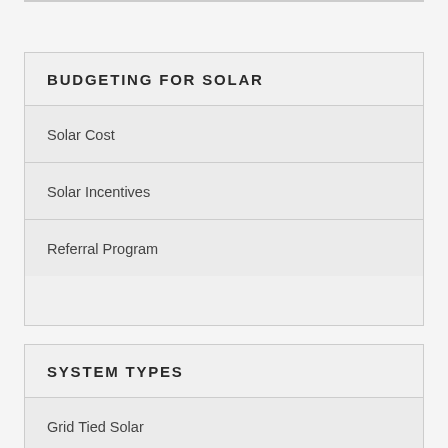BUDGETING FOR SOLAR
Solar Cost
Solar Incentives
Referral Program
SYSTEM TYPES
Grid Tied Solar
Solar w/ Backup Power
Off Grid Sol…